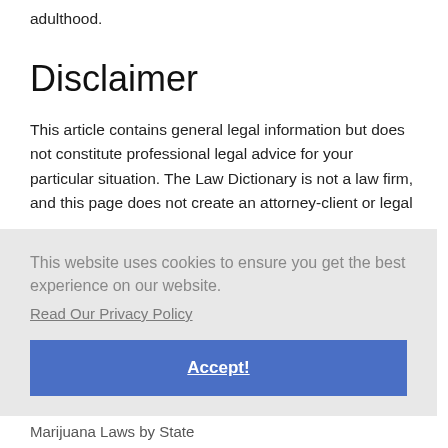adulthood.
Disclaimer
This article contains general legal information but does not constitute professional legal advice for your particular situation. The Law Dictionary is not a law firm, and this page does not create an attorney-client or legal
This website uses cookies to ensure you get the best experience on our website.
Read Our Privacy Policy
Accept!
Marijuana Laws by State